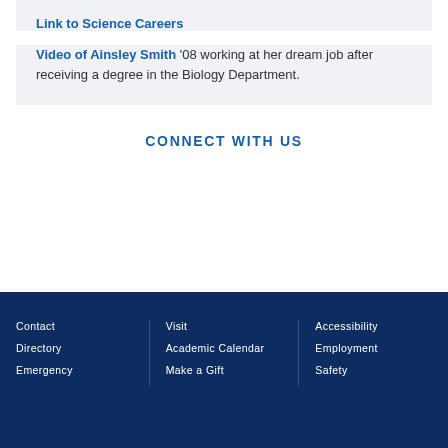Link to Science Careers
Video of Ainsley Smith '08 working at her dream job after receiving a degree in the Biology Department.
CONNECT WITH US
Contact
Directory
Emergency
Visit
Academic Calendar
Make a Gift
Accessibility
Employment
Safety